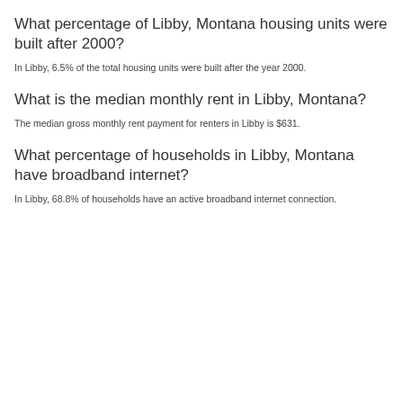What percentage of Libby, Montana housing units were built after 2000?
In Libby, 6.5% of the total housing units were built after the year 2000.
What is the median monthly rent in Libby, Montana?
The median gross monthly rent payment for renters in Libby is $631.
What percentage of households in Libby, Montana have broadband internet?
In Libby, 68.8% of households have an active broadband internet connection.